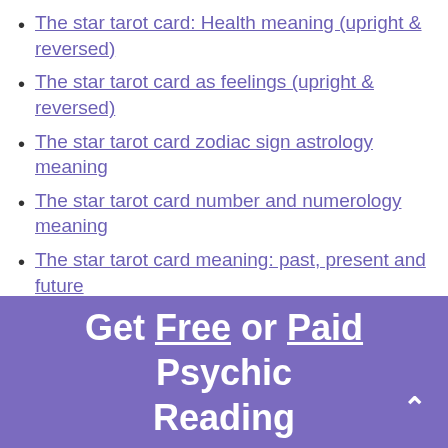The star tarot card: Health meaning (upright & reversed)
The star tarot card as feelings (upright & reversed)
The star tarot card zodiac sign astrology meaning
The star tarot card number and numerology meaning
The star tarot card meaning: past, present and future
The star tarot card as a person
The star tarot card combinations guide
Get Free or Paid Psychic Reading